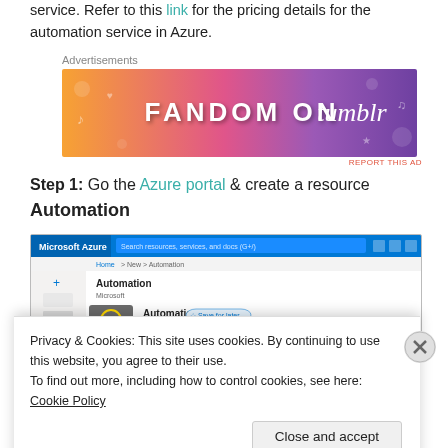service. Refer to this link for the pricing details for the automation service in Azure.
[Figure (screenshot): Fandom on Tumblr advertisement banner with colorful gradient background (orange to purple) with text 'FANDOM ON tumblr']
Step 1: Go the Azure portal & create a resource Automation
[Figure (screenshot): Microsoft Azure portal screenshot showing the Automation resource creation page with 'Create' button]
Privacy & Cookies: This site uses cookies. By continuing to use this website, you agree to their use. To find out more, including how to control cookies, see here: Cookie Policy
Close and accept